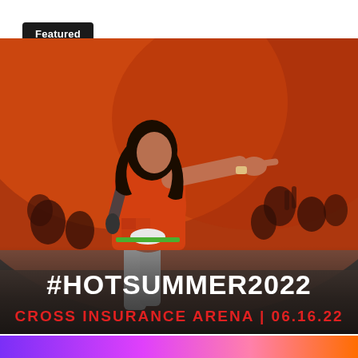Featured Gallery
[Figure (photo): Concert photo: a performer with long dark hair wearing an orange shirt points to the crowd while holding a microphone. The scene is bathed in orange light with an arena crowd visible in the background. Overlaid text reads #HOTSUMMER2022 in white, and CROSS INSURANCE ARENA | 06.16.22 in red below.]
CROSS INSURANCE ARENA | 06.16.22